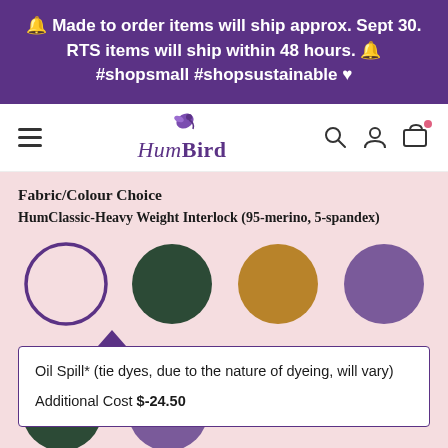🔔 Made to order items will ship approx. Sept 30. RTS items will ship within 48 hours. 🔔 #shopsmall #shopsustainable ♥
[Figure (logo): HumBird logo with hummingbird icon above text, navigation bar with hamburger menu, search, account, and cart icons]
Fabric/Colour Choice
HumClassic-Heavy Weight Interlock (95-merino, 5-spandex)
[Figure (illustration): Four color swatches: white with purple outline (selected), dark forest green, golden yellow-brown, muted purple]
Oil Spill* (tie dyes, due to the nature of dyeing, will vary)
Additional Cost $-24.50